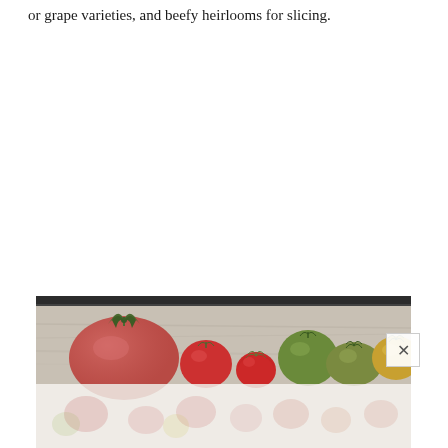or grape varieties, and beefy heirlooms for slicing.
[Figure (photo): A flat-lay photograph of multiple heirloom tomatoes of varying sizes and colors arranged on a light wooden surface. The tomatoes range from large pink/red beefsteak types on the left, to small red cherry tomatoes in the middle, to green and yellow-orange heirlooms on the right. Below this is a second partially visible photo showing tomatoes on a light background.]